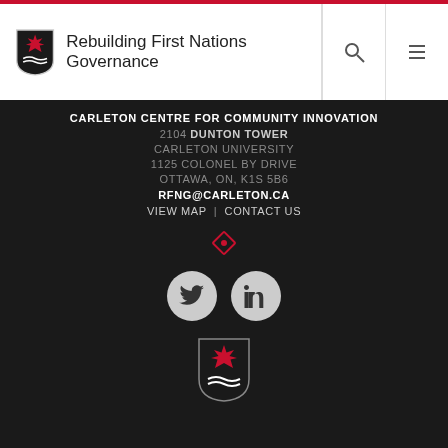Rebuilding First Nations Governance
CARLETON CENTRE FOR COMMUNITY INNOVATION
2104 DUNTON TOWER
CARLETON UNIVERSITY
1125 COLONEL BY DRIVE
OTTAWA, ON, K1S 5B6
RFNG@CARLETON.CA
VIEW MAP | CONTACT US
[Figure (logo): Red diamond/rhombus decorative icon]
[Figure (logo): Twitter and LinkedIn social media icon circles]
[Figure (logo): Carleton / RFNG shield logo at bottom]